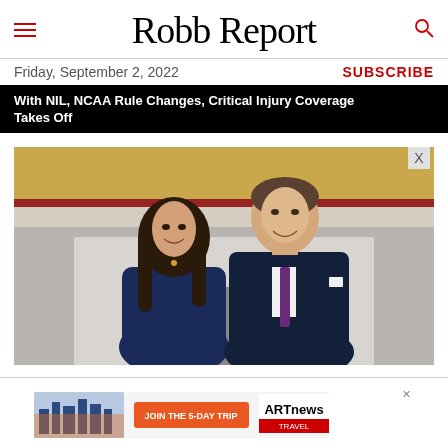Robb Report
Friday, September 2, 2022
SUBSCRIBE
With NIL, NCAA Rule Changes, Critical Injury Coverage Takes Off
[Figure (photo): A smiling couple (woman with long dark hair in blue dress, man in navy suit with purple tie) standing in front of an ornate gold-framed mirror and white marble fireplace.]
[Figure (infographic): ARTnews Travel advertisement banner: left side shows city skyline photo, center has orange button reading 'JOIN THE 5-DAY TRIP', right side shows ARTnews Travel logo on white background.]